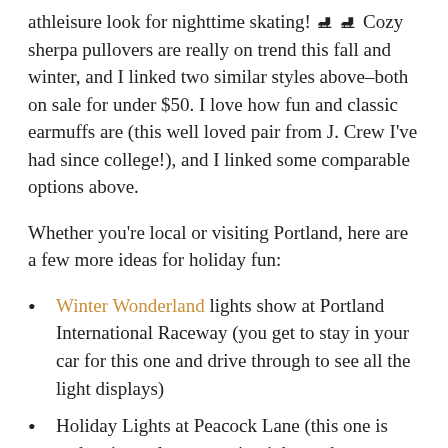athleisure look for nighttime skating! 🛼🛼 Cozy sherpa pullovers are really on trend this fall and winter, and I linked two similar styles above–both on sale for under $50. I love how fun and classic earmuffs are (this well loved pair from J. Crew I've had since college!), and I linked some comparable options above.
Whether you're local or visiting Portland, here are a few more ideas for holiday fun:
Winter Wonderland lights show at Portland International Raceway (you get to stay in your car for this one and drive through to see all the light displays)
Holiday Lights at Peacock Lane (this one is pedestrian only on certain nights so be sure to check out their website for more details)
View the Christmas Ships from the Columbia River or Willamette River (be sure to check their website for exact locations, dates, and weather conditions)
Holiday river cruises on the Portland Spirit